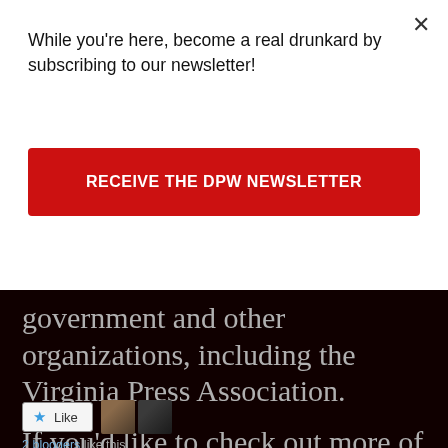While you're here, become a real drunkard by subscribing to our newsletter!
RECEIVE THE DPW NEWSLETTER
government and other organizations, including the Virginia Press Association.
If you'd like to check out more of Harrison's work, you can go to his official website, Facebook page, or Goodreads profile.
2 bloggers like this.